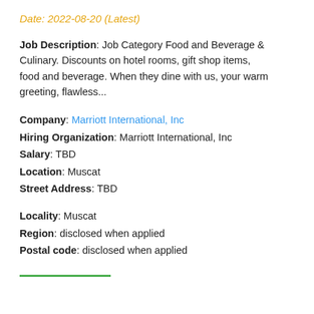Date: 2022-08-20 (Latest)
Job Description: Job Category Food and Beverage & Culinary. Discounts on hotel rooms, gift shop items, food and beverage. When they dine with us, your warm greeting, flawless...
Company: Marriott International, Inc
Hiring Organization: Marriott International, Inc
Salary: TBD
Location: Muscat
Street Address: TBD
Locality: Muscat
Region: disclosed when applied
Postal code: disclosed when applied